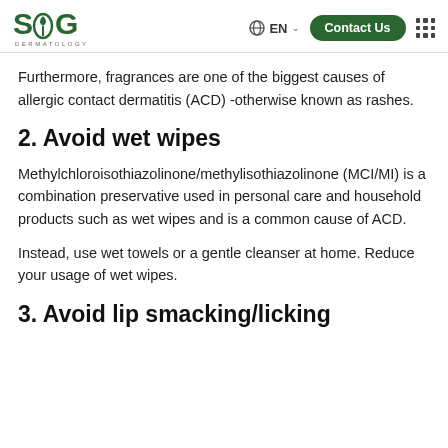SOG DERMATOLOGY | EN | Contact Us
Furthermore, fragrances are one of the biggest causes of allergic contact dermatitis (ACD) -otherwise known as rashes.
2. Avoid wet wipes
Methylchloroisothiazolinone/methylisothiazolinone (MCI/MI) is a combination preservative used in personal care and household products such as wet wipes and is a common cause of ACD.
Instead, use wet towels or a gentle cleanser at home. Reduce your usage of wet wipes.
3. Avoid lip smacking/licking